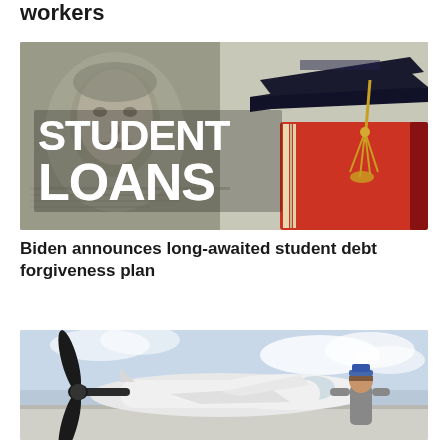workers
[Figure (photo): Student Loans image with graduation cap on books and dollar bills in background, text reads STUDENT LOANS]
Biden announces long-awaited student debt forgiveness plan
[Figure (photo): Person standing next to a small propeller airplane on a cloudy day, wearing a blue cap]